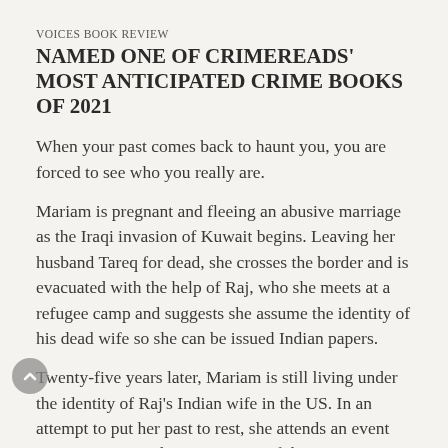VOICES BOOK REVIEW
NAMED ONE OF CRIMEREADS' MOST ANTICIPATED CRIME BOOKS OF 2021
When your past comes back to haunt you, you are forced to see who you really are.
Mariam is pregnant and fleeing an abusive marriage as the Iraqi invasion of Kuwait begins. Leaving her husband Tareq for dead, she crosses the border and is evacuated with the help of Raj, who she meets at a refugee camp and suggests she assume the identity of his dead wife so she can be issued Indian papers.
Twenty-five years later, Mariam is still living under the identity of Raj's Indian wife in the US. In an attempt to put her past to rest, she attends an event commemorating the anniversary of the invasion at the